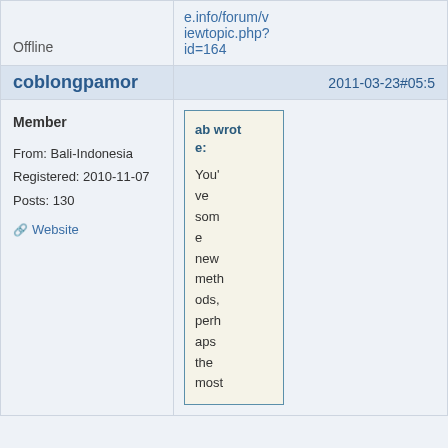e.info/forum/viewtopic.php?id=164
Offline
coblongpamor
2011-03-23 #05:5
Member
From: Bali-Indonesia
Registered: 2010-11-07
Posts: 130
Website
ab wrote:
You've some new methods, perhaps the most